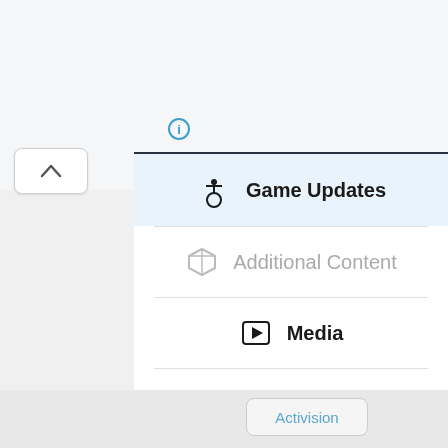[Figure (screenshot): UI menu showing navigation items: Game Updates (selected/active), Additional Content (grayed out), Media, Metadata, with an info icon at top and an up-arrow button on the left, and an Activision button at the bottom]
Game Updates
Additional Content
Media
Metadata
Activision